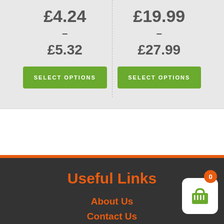£4.24 - £5.32
SELECT OPTIONS
£19.99 - £27.99
SELECT OPTIONS
Useful Links
About Us
Contact Us